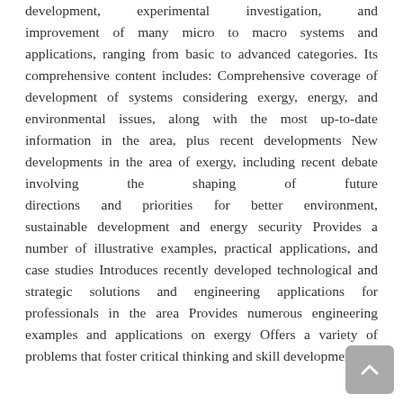development, experimental investigation, and improvement of many micro to macro systems and applications, ranging from basic to advanced categories. Its comprehensive content includes: Comprehensive coverage of development of systems considering exergy, energy, and environmental issues, along with the most up-to-date information in the area, plus recent developments New developments in the area of exergy, including recent debate involving the shaping of future directions and priorities for better environment, sustainable development and energy security Provides a number of illustrative examples, practical applications, and case studies Introduces recently developed technological and strategic solutions and engineering applications for professionals in the area Provides numerous engineering examples and applications on exergy Offers a variety of problems that foster critical thinking and skill development